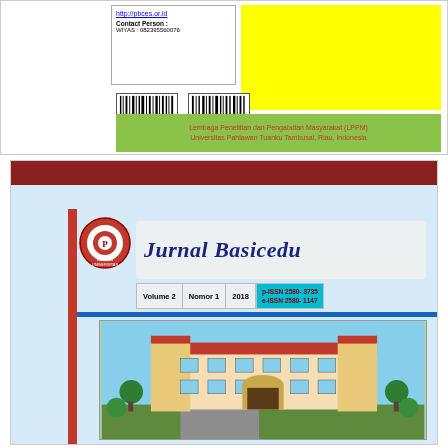[Figure (other): Top portion showing barcode area, yellow region, and green banner with text: Lembaga Penelitian dan Pengabdian Masyarakat (LPPM) Universitas Pahlawan Tuanku Tambusai, Riau, Indonesia]
http://pbces.or.id
Contact Person :
WIYAS : 082395560076
Lembaga Penelitian dan Pengabdian Masyarakat (LPPM) Universitas Pahlawan Tuanku Tambusai, Riau, Indonesia
[Figure (other): Journal cover of Jurnal Basicedu, Volume 2 Nomor 1 2018, p-ISSN 2580-3735, e-ISSN 2580-1147, with university logo, building photo, published by PRODI PENDIDIKAN GURU SEKOLAH DASAR FAKULTAS ILMU PENDIDIKAN UNIVERSITAS PAHLAWAN TUANKU TAMBUSAI]
Jurnal Basicedu
Volume 2  Nomor 1  2018  p-ISSN 2580-3735  e-ISSN 2580-1147
PRODI PENDIDIKAN GURU SEKOLAH DASAR
FAKULTAS ILMU PENDIDIKAN
UNIVERSITAS PAHLAWAN TUANKU TAMBUSAI